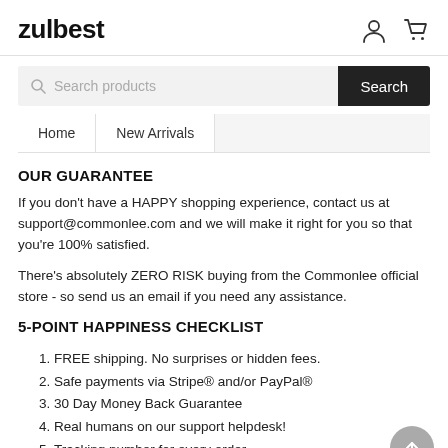zulbest
[Figure (infographic): Search bar with search button and navigation tabs: Home, New Arrivals]
OUR GUARANTEE
If you don't have a HAPPY shopping experience, contact us at support@commonlee.com and we will make it right for you so that you're 100% satisfied.
There's absolutely ZERO RISK buying from the Commonlee official store - so send us an email if you need any assistance.
5-POINT HAPPINESS CHECKLIST
FREE shipping. No surprises or hidden fees.
Safe payments via Stripe® and/or PayPal®
30 Day Money Back Guarantee
Real humans on our support helpdesk!
Tracking number for every order